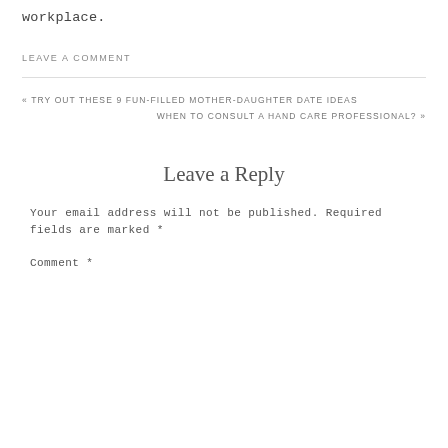workplace.
LEAVE A COMMENT
« TRY OUT THESE 9 FUN-FILLED MOTHER-DAUGHTER DATE IDEAS
WHEN TO CONSULT A HAND CARE PROFESSIONAL? »
Leave a Reply
Your email address will not be published. Required fields are marked *
Comment *